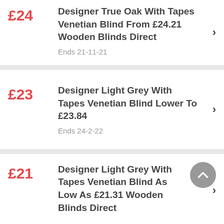£24 Designer True Oak With Tapes Venetian Blind From £24.21 Wooden Blinds Direct – Ends 21-11-21
£23 Designer Light Grey With Tapes Venetian Blind Lower To £23.84 – Ends 24-2-22
£21 Designer Light Grey With Tapes Venetian Blind As Low As £21.31 Wooden Blinds Direct